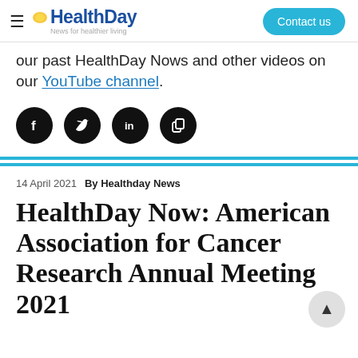HealthDay — News for healthier living | Contact us
our past HealthDay Nows and other videos on our YouTube channel.
[Figure (illustration): Four social media icon buttons (Facebook, Twitter, LinkedIn, Copy/Share) as black circles with white icons]
14 April 2021   By Healthday News
HealthDay Now: American Association for Cancer Research Annual Meeting 2021